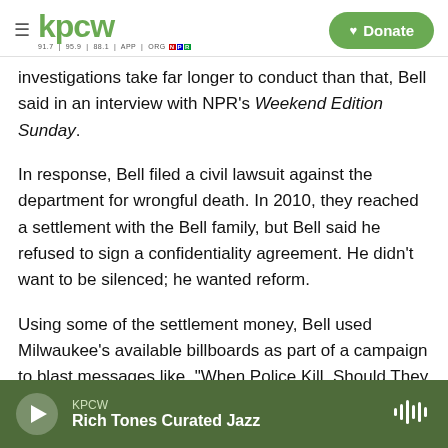KPCW | Donate
investigations take far longer to conduct than that, Bell said in an interview with NPR's Weekend Edition Sunday.
In response, Bell filed a civil lawsuit against the department for wrongful death. In 2010, they reached a settlement with the Bell family, but Bell said he refused to sign a confidentiality agreement. He didn't want to be silenced; he wanted reform.
Using some of the settlement money, Bell used Milwaukee's available billboards as part of a campaign to blast messages like, "When Police Kill, Should They Judge Themselves?"
KPCW | Rich Tones Curated Jazz